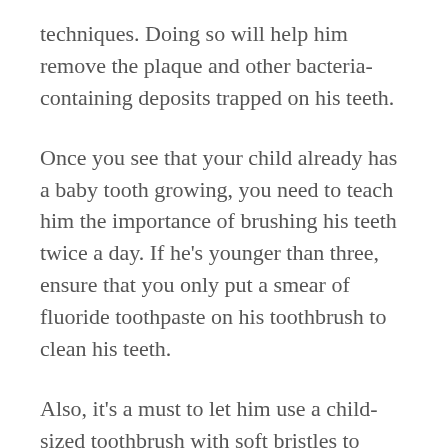techniques. Doing so will help him remove the plaque and other bacteria-containing deposits trapped on his teeth.
Once you see that your child already has a baby tooth growing, you need to teach him the importance of brushing his teeth twice a day. If he's younger than three, ensure that you only put a smear of fluoride toothpaste on his toothbrush to clean his teeth.
Also, it's a must to let him use a child-sized toothbrush with soft bristles to protect your child's delicate gums. Once he reaches the age of three, you can start giving him a pea-size amount of fluoride toothpaste. It should be enough to help prevent any cavities from building up.